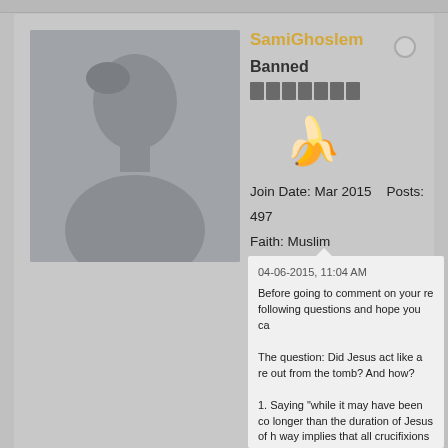SamiGhoslem
Banned
Join Date: Mar 2015   Posts: 497
Faith: Muslim
Gender: Male
Amens Received: 0
Amens Given: 0
04-06-2015, 11:04 AM
Before going to comment on your re following questions and hope you ca

The question: Did Jesus act like a re out from the tomb? And how?

1. Saying "while it may have been co longer than the duration of Jesus of h way implies that all crucifixions laste relatively short survival of that metho correct in the case of Jesus due to P because he knew well that (1) Jesus a day (i.e. 9 hours) while victims of c